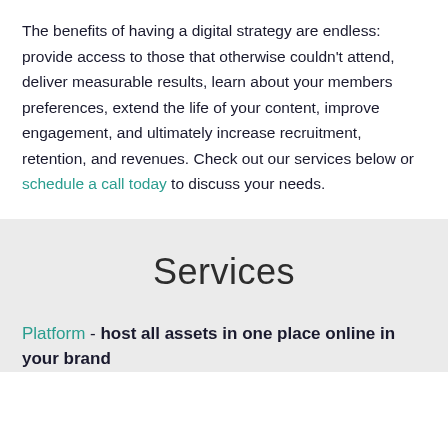The benefits of having a digital strategy are endless: provide access to those that otherwise couldn't attend, deliver measurable results, learn about your members preferences, extend the life of your content, improve engagement, and ultimately increase recruitment, retention, and revenues. Check out our services below or schedule a call today to discuss your needs.
Services
Platform - host all assets in one place online in your brand